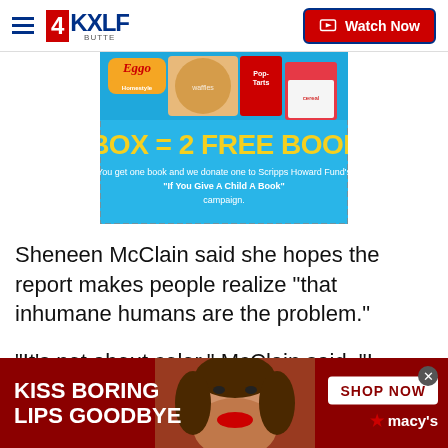4KXLF BUTTE — Watch Now
[Figure (illustration): Kellogg's Eggo advertisement banner: shows Eggo waffle products on cyan/light-blue background with text '1 BOX = 2 FREE BOOKS. You get one book and we donate one to Scripps Howard Fund's "If You Give A Child A Book" campaign.']
Sheneen McClain said she hopes the report makes people realize "that inhumane humans are the problem."
"It's not about color," McClain said. "I mean, we can say it is all day long. It's about human rights. If we
[Figure (illustration): Macy's advertisement banner at bottom: dark red background with white bold text 'KISS BORING LIPS GOODBYE', photo of woman with red lipstick in center, right side shows white box with 'SHOP NOW' text and Macy's star logo in red.]